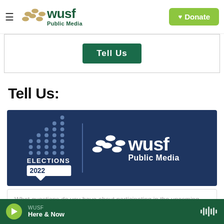WUSF Public Media — Donate
[Figure (screenshot): Partial view of a Tell Us button (teal/green) on white background]
Tell Us:
[Figure (logo): Elections 2022 WUSF Public Media logo on dark navy background — shows bar chart graphic with text ELECTIONS 2022 in speech bubble, vertical divider, and WUSF Public Media logo in white]
What questions do you have about participating in the upcoming midterm elections?
WUSF  Here & Now